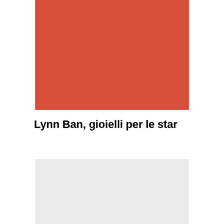[Figure (illustration): Solid red-orange rectangle used as a graphic/image placeholder on the upper portion of the page]
Lynn Ban, gioielli per le star
[Figure (illustration): Solid light gray rectangle used as a graphic/image placeholder on the lower portion of the page]